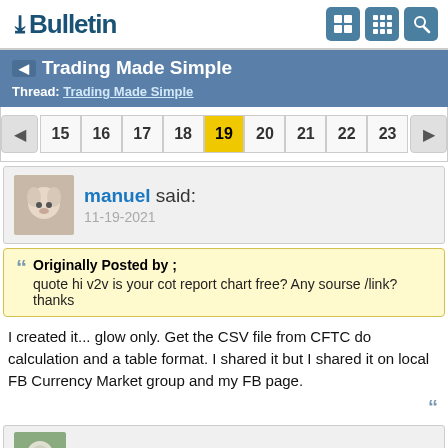vBulletin
Trading Made Simple
Thread: Trading Made Simple
15 16 17 18 19 20 21 22 23
manuel said: 11-19-2021
Originally Posted by ; quote hi v2v is your cot report chart free? Any sourse /link?thanks
I created it... glow only. Get the CSV file from CFTC do calculation and a table format. I shared it but I shared it on local FB Currency Market group and my FB page.
brenrizzi said: